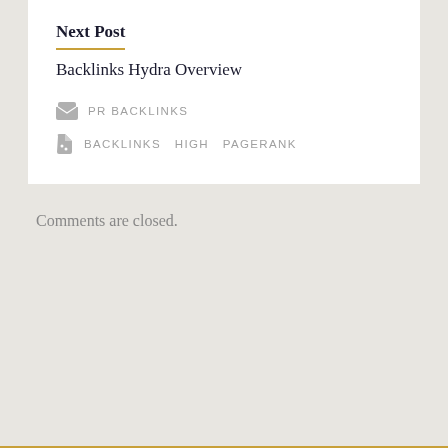Next Post
Backlinks Hydra Overview
PR BACKLINKS
BACKLINKS  HIGH  PAGERANK
Comments are closed.